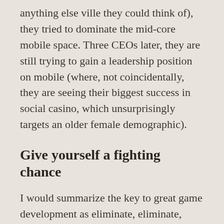anything else ville they could think of), they tried to dominate the mid-core mobile space. Three CEOs later, they are still trying to gain a leadership position on mobile (where, not coincidentally, they are seeing their biggest success in social casino, which unsurprisingly targets an older female demographic).
Give yourself a fighting chance
I would summarize the key to great game development as eliminate, eliminate, eliminate and tweak, tweak, tweak. As I mentioned earlier, at least 80 percent of game launches fail